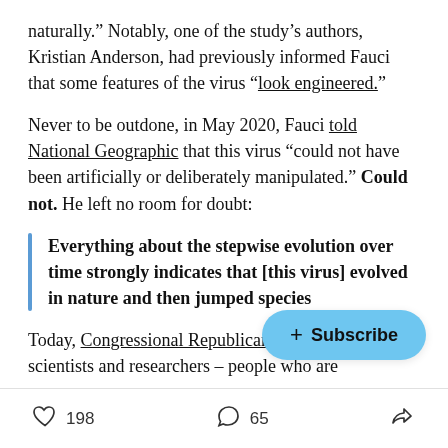naturally.” Notably, one of the study’s authors, Kristian Anderson, had previously informed Fauci that some features of the virus “look engineered.”
Never to be outdone, in May 2020, Fauci told National Geographic that this virus “could not have been artificially or deliberately manipulated.” Could not. He left no room for doubt:
Everything about the stepwise evolution over time strongly indicates that [this virus] evolved in nature and then jumped species
Today, Congressional Republicans re... revealing scientists and researchers – people who are
[Figure (other): Subscribe button overlay (blue pill-shaped button with + Subscribe text)]
198 likes  65 comments  share